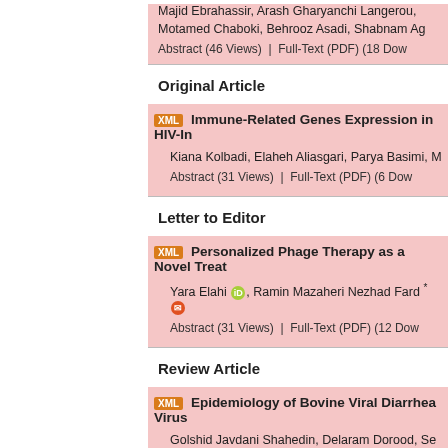Majid Ebrahassir, Arash Gharyanchi Langerou, Motamed Chaboki, Behrooz Asadi, Shabnam Ag
Abstract (46 Views)   |   Full-Text (PDF) (18 Dow
Original Article
[XML] Immune-Related Genes Expression in HIV-In
Kiana Kolbadi, Elaheh Aliasgari, Parya Basimi, ...
Abstract (31 Views)   |   Full-Text (PDF) (6 Dow
Letter to Editor
[XML] Personalized Phage Therapy as a Novel Treat
Yara Elahi [ID], Ramin Mazaheri Nezhad Fard *
Abstract (31 Views)   |   Full-Text (PDF) (12 Dow
Review Article
[XML] Epidemiology of Bovine Viral Diarrhea Virus
Golshid Javdani Shahedin, Delaram Dorood, Se